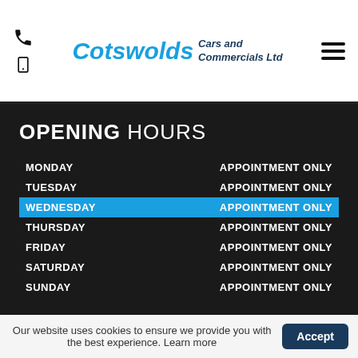Cotswolds Cars and Commercials Ltd
OPENING HOURS
| Day | Hours |
| --- | --- |
| MONDAY | APPOINTMENT ONLY |
| TUESDAY | APPOINTMENT ONLY |
| WEDNESDAY | APPOINTMENT ONLY |
| THURSDAY | APPOINTMENT ONLY |
| FRIDAY | APPOINTMENT ONLY |
| SATURDAY | APPOINTMENT ONLY |
| SUNDAY | APPOINTMENT ONLY |
Our website uses cookies to ensure we provide you with the best experience. Learn more